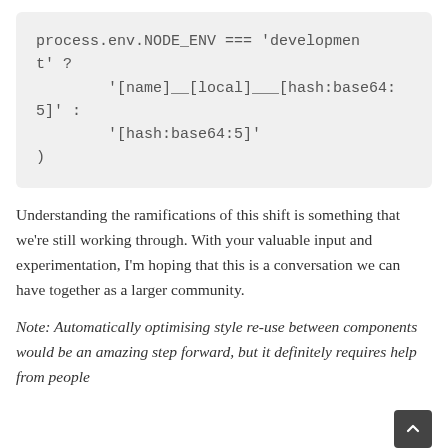process.env.NODE_ENV === 'development' ?
        '[name]__[local]___[hash:base64:5]' :
        '[hash:base64:5]'
)
Understanding the ramifications of this shift is something that we're still working through. With your valuable input and experimentation, I'm hoping that this is a conversation we can have together as a larger community.
Note: Automatically optimising style re-use between components would be an amazing step forward, but it definitely requires help from people